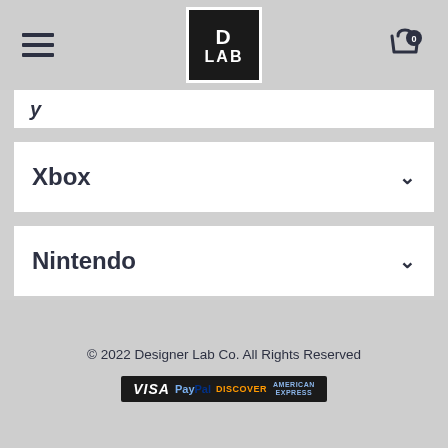D LAB (logo)
y (partial, truncated accordion item)
Xbox
Nintendo
Support & Policies
© 2022 Designer Lab Co. All Rights Reserved
[Figure (logo): Payment methods strip showing VISA, PayPal, Discover, American Express logos on dark background]